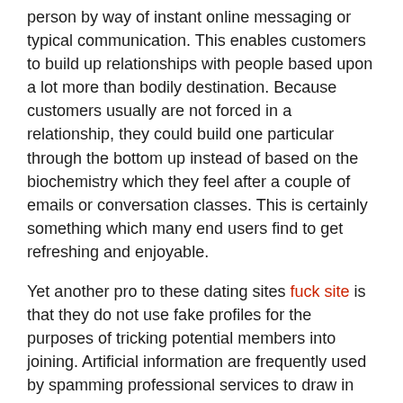person by way of instant online messaging or typical communication. This enables customers to build up relationships with people based upon a lot more than bodily destination. Because customers usually are not forced in a relationship, they could build one particular through the bottom up instead of based on the biochemistry which they feel after a couple of emails or conversation classes. This is certainly something which many end users find to get refreshing and enjoyable.
Yet another pro to these dating sites fuck site is that they do not use fake profiles for the purposes of tricking potential members into joining. Artificial information are frequently used by spamming professional services to draw in consumers. Fake profiles are also a point of concern for users because they may post positive profiles in order to attract someone who will join after they have joined. This can be done so as to make it appear like there are many consumers when, the truth is, only a number of these are in fact registered with all the assistance.
In addition to this, grown-up dating sites also provide various